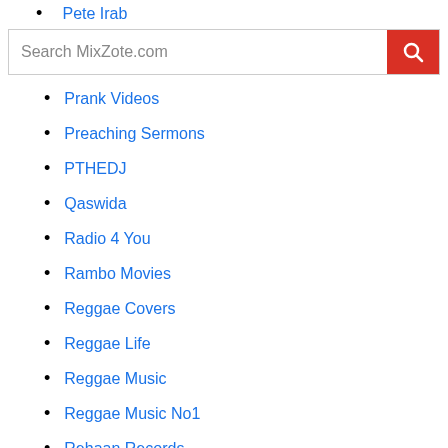Pete Irab
Search MixZote.com
Prank Videos
Preaching Sermons
PTHEDJ
Qaswida
Radio 4 You
Rambo Movies
Reggae Covers
Reggae Life
Reggae Music
Reggae Music No1
Rehaan Records
Relax Chillout Music
Relaxation Ambient Music
Relaxing Meditation Music